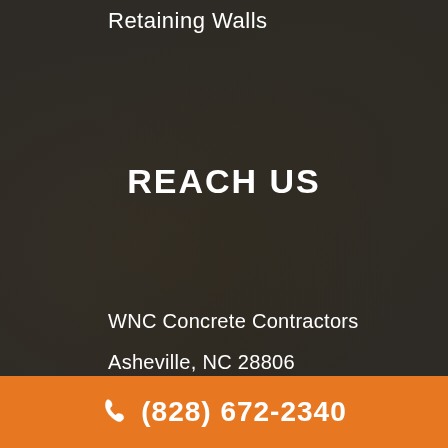Retaining Walls
REACH US
WNC Concrete Contractors
Asheville, NC 28806
(828) 672-2340
(828) 672-2340